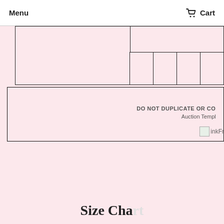Menu  Cart
[Figure (other): Pink background form/template layout with a table at top showing cells, a bordered box with text 'DO NOT DUPLICATE OR CO...' and 'Auction Templ...' inside, and an inkFr image placeholder in lower right]
Size Chart